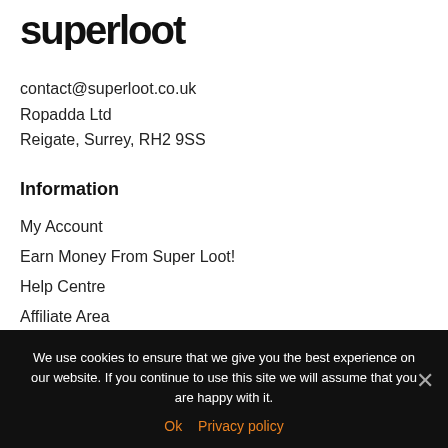[Figure (logo): Super Loot logo - stylized bold black text/wordmark]
contact@superloot.co.uk
Ropadda Ltd
Reigate, Surrey, RH2 9SS
Information
My Account
Earn Money From Super Loot!
Help Centre
Affiliate Area
We use cookies to ensure that we give you the best experience on our website. If you continue to use this site we will assume that you are happy with it.
Ok  Privacy policy